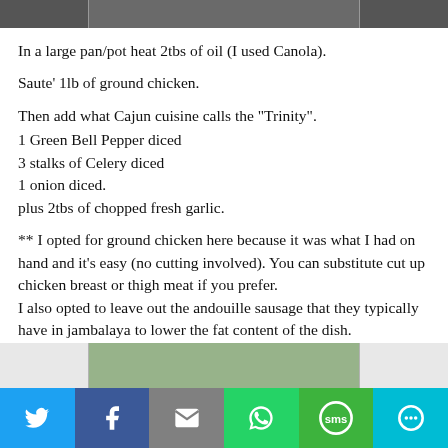[Figure (photo): Top partial photo of a cooking pan/pot, cropped at top of page]
In a large pan/pot heat 2tbs of oil (I used Canola).
Saute' 1lb of ground chicken.
Then add what Cajun cuisine calls the "Trinity".
1 Green Bell Pepper diced
3 stalks of Celery diced
1 onion diced.
plus 2tbs of chopped fresh garlic.
** I opted for ground chicken here because it was what I had on hand and it's easy (no cutting involved). You can substitute cut up chicken breast or thigh meat if you prefer.
I also opted to leave out the andouille sausage that they typically have in jambalaya to lower the fat content of the dish.
[Figure (photo): Bottom partial photo of chopped vegetables (cauliflower/garlic mix), cropped at bottom of page]
[Figure (infographic): Social media share bar with Twitter, Facebook, Email, WhatsApp, SMS, and More buttons]